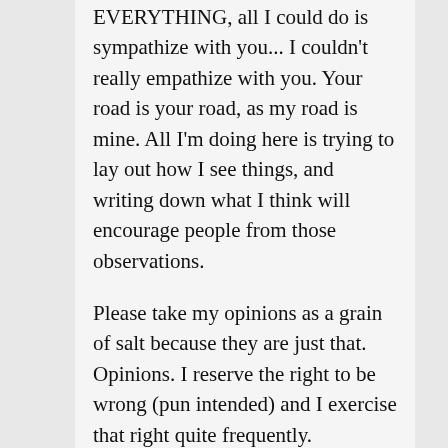EVERYTHING, all I could do is sympathize with you... I couldn't really empathize with you. Your road is your road, as my road is mine. All I'm doing here is trying to lay out how I see things, and writing down what I think will encourage people from those observations.
Please take my opinions as a grain of salt because they are just that. Opinions. I reserve the right to be wrong (pun intended) and I exercise that right quite frequently.
Once again, thanks for reading